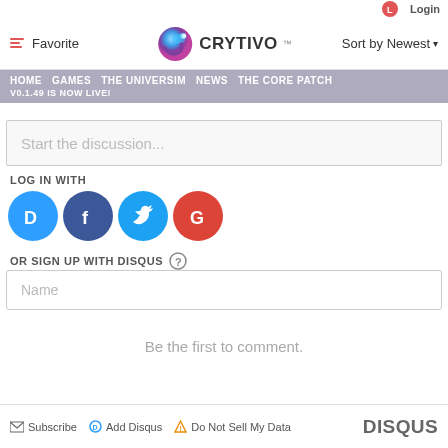[Figure (screenshot): Crytivo website header with chameleon logo and navigation bar showing Favorite, Sort by Newest options]
HOME  GAMES  THE UNIVERSIM  NEWS  THE CORE PATCH V0.1.49 IS NOW LIVE!
Start the discussion...
LOG IN WITH
[Figure (logo): Social login icons: Disqus (blue), Facebook (dark blue), Twitter (light blue), Google (red)]
OR SIGN UP WITH DISQUS ?
Name
Be the first to comment.
Subscribe  Add Disqus  Do Not Sell My Data  DISQUS